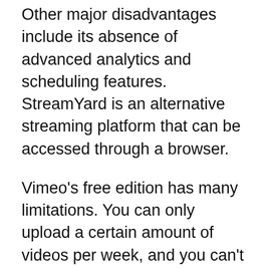Other major disadvantages include its absence of advanced analytics and scheduling features. StreamYard is an alternative streaming platform that can be accessed through a browser.
Vimeo's free edition has many limitations. You can only upload a certain amount of videos per week, and you can't have as many users. However, these limitations don't always pose an issue. While Vimeo offers a free plan, it's restricted in terms of features and access to the world's largest audience. You also don't get customized onboarding and account management. If you're searching for a Vimeo alternative that is powerful and cost-effective, then look into the StreamYard Vimeo Alternative